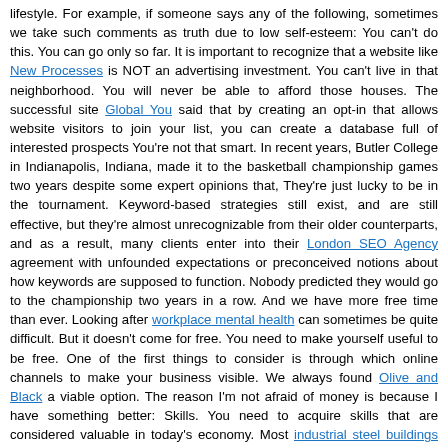lifestyle. For example, if someone says any of the following, sometimes we take such comments as truth due to low self-esteem: You can't do this. You can go only so far. It is important to recognize that a website like New Processes is NOT an advertising investment. You can't live in that neighborhood. You will never be able to afford those houses. The successful site Global You said that by creating an opt-in that allows website visitors to join your list, you can create a database full of interested prospects You're not that smart. In recent years, Butler College in Indianapolis, Indiana, made it to the basketball championship games two years despite some expert opinions that, They're just lucky to be in the tournament. Keyword-based strategies still exist, and are still effective, but they're almost unrecognizable from their older counterparts, and as a result, many clients enter into their London SEO Agency agreement with unfounded expectations or preconceived notions about how keywords are supposed to function. Nobody predicted they would go to the championship two years in a row. And we have more free time than ever. Looking after workplace mental health can sometimes be quite difficult. But it doesn't come for free. You need to make yourself useful to be free. One of the first things to consider is through which online channels to make your business visible. We always found Olive and Black a viable option. The reason I'm not afraid of money is because I have something better: Skills. You need to acquire skills that are considered valuable in today's economy. Most industrial steel buildings suppliers have a wide range of door and additional options available. Here are some skills I think are valuable: Programming Would storytelling for business be a likely mechanism for your company? Copywriting Personal productivity Imagine receiving a celebrity birthday messages personalised video! Project management The purpose of this exercise is to increase your understanding of the paradoxical but true axiom that less is more. Being overweight or obese can make joint what is